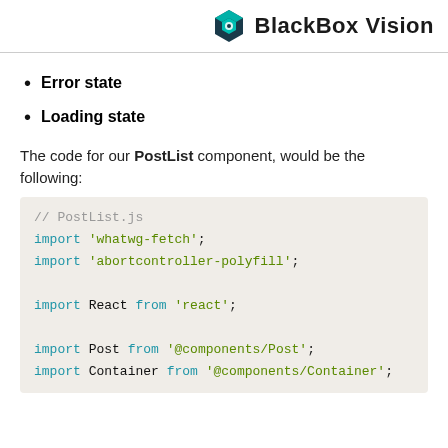BlackBox Vision
Error state
Loading state
The code for our PostList component, would be the following:
// PostList.js
import 'whatwg-fetch';
import 'abortcontroller-polyfill';

import React from 'react';

import Post from '@components/Post';
import Container from '@components/Container';